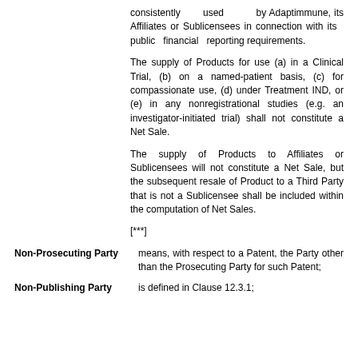consistently used by Adaptimmune, its Affiliates or Sublicensees in connection with its public financial reporting requirements.
The supply of Products for use (a) in a Clinical Trial, (b) on a named-patient basis, (c) for compassionate use, (d) under Treatment IND, or (e) in any nonregistrational studies (e.g. an investigator-initiated trial) shall not constitute a Net Sale.
The supply of Products to Affiliates or Sublicensees will not constitute a Net Sale, but the subsequent resale of Product to a Third Party that is not a Sublicensee shall be included within the computation of Net Sales.
[***]
Non-Prosecuting Party
means, with respect to a Patent, the Party other than the Prosecuting Party for such Patent;
Non-Publishing Party
is defined in Clause 12.3.1;